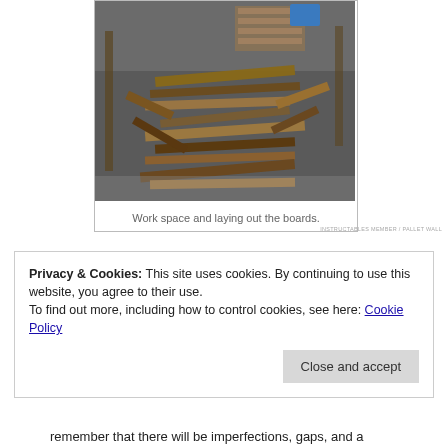[Figure (photo): A garage workspace with wooden boards laid out on the floor in a patchwork pattern, with pallets and tools visible in the background.]
Work space and laying out the boards.
INSTRUCTABLES MEMBER / PALLET WALL
Privacy & Cookies: This site uses cookies. By continuing to use this website, you agree to their use.
To find out more, including how to control cookies, see here: Cookie Policy
Close and accept
remember that there will be imperfections, gaps, and a